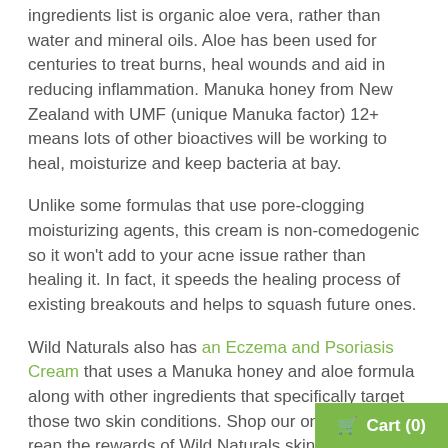ingredients list is organic aloe vera, rather than water and mineral oils. Aloe has been used for centuries to treat burns, heal wounds and aid in reducing inflammation. Manuka honey from New Zealand with UMF (unique Manuka factor) 12+ means lots of other bioactives will be working to heal, moisturize and keep bacteria at bay.
Unlike some formulas that use pore-clogging moisturizing agents, this cream is non-comedogenic so it won't add to your acne issue rather than healing it. In fact, it speeds the healing process of existing breakouts and helps to squash future ones.
Wild Naturals also has an Eczema and Psoriasis Cream that uses a Manuka honey and aloe formula along with other ingredients that specifically target those two skin conditions. Shop our online store to reap the rewards of Wild Naturals skin care products!